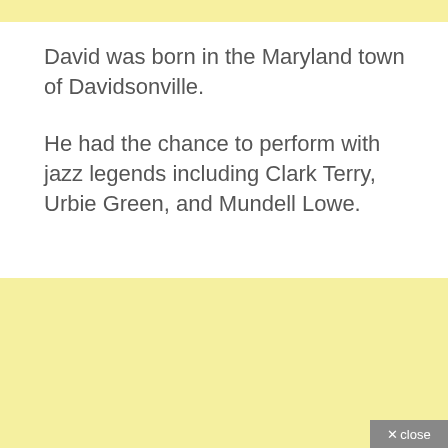David was born in the Maryland town of Davidsonville.
He had the chance to perform with jazz legends including Clark Terry, Urbie Green, and Mundell Lowe.